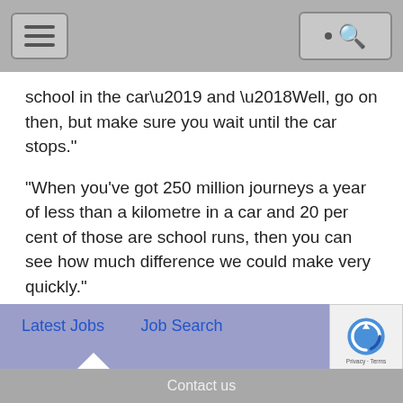[Navigation bar with hamburger menu and search button]
school in the car’ and ‘Well, go on then, but make sure you wait until the car stops.”
“When you’ve got 250 million journeys a year of less than a kilometre in a car and 20 per cent of those are school runs, then you can see how much difference we could make very quickly.”
If the DfT gives its consent for zebra crossings on side roads, “it will save everybody a hell of lot,” he says. “All the other cycling and walking commissioners in this country are waiting to see what will happen.”
Latest Jobs   Job Search
Contact us